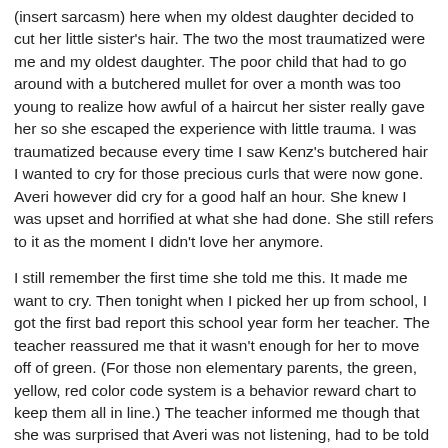(insert sarcasm) here when my oldest daughter decided to cut her little sister's hair. The two the most traumatized were me and my oldest daughter. The poor child that had to go around with a butchered mullet for over a month was too young to realize how awful of a haircut her sister really gave her so she escaped the experience with little trauma. I was traumatized because every time I saw Kenz's butchered hair I wanted to cry for those precious curls that were now gone. Averi however did cry for a good half an hour. She knew I was upset and horrified at what she had done. She still refers to it as the moment I didn't love her anymore.
I still remember the first time she told me this. It made me want to cry. Then tonight when I picked her up from school, I got the first bad report this school year form her teacher. The teacher reassured me that it wasn't enough for her to move off of green. (For those non elementary parents, the green, yellow, red color code system is a behavior reward chart to keep them all in line.) The teacher informed me though that she was surprised that Averi was not listening, had to be told to do things more than once, and had to be told  to settle down. When you're a teacher and you deal with everyone